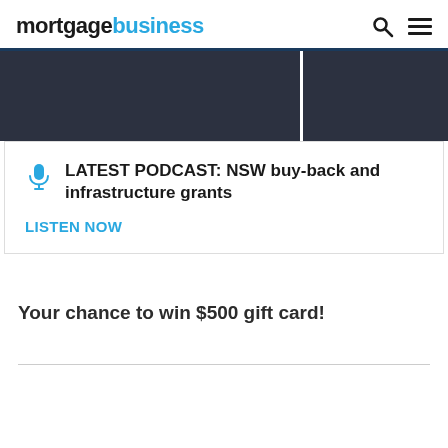mortgagebusiness
[Figure (screenshot): Dark banner image with two sections separated by a white gap]
LATEST PODCAST: NSW buy-back and infrastructure grants
LISTEN NOW
Your chance to win $500 gift card!